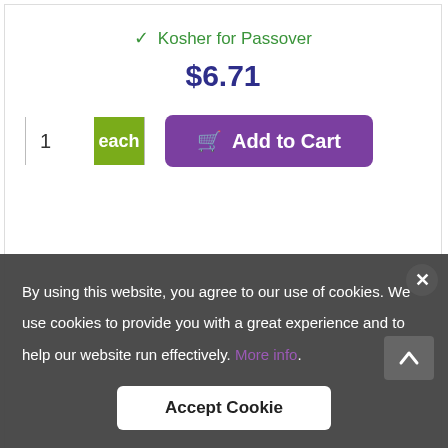✓ Kosher for Passover
$6.71
1 each
Add to Cart
By using this website, you agree to our use of cookies. We use cookies to provide you with a great experience and to help our website run effectively. More info.
Accept Cookie